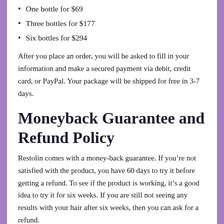One bottle for $69
Three bottles for $177
Six bottles for $294
After you place an order, you will be asked to fill in your information and make a secured payment via debit, credit card, or PayPal. Your package will be shipped for free in 3-7 days.
Moneyback Guarantee and Refund Policy
Restolin comes with a money-back guarantee. If you’re not satisfied with the product, you have 60 days to try it before getting a refund. To see if the product is working, it’s a good idea to try it for six weeks. If you are still not seeing any results with your hair after six weeks, then you can ask for a refund.
Pros and Cons